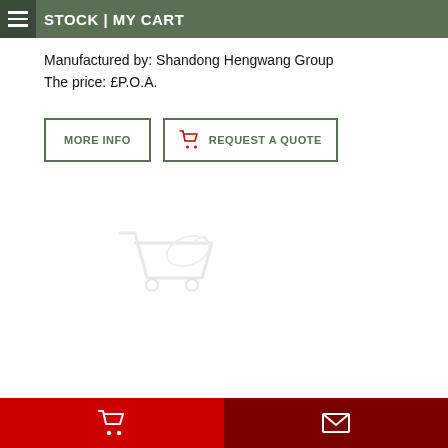STOCK | MY CART
Manufactured by: Shandong Hengwang Group
The price: £P.O.A.
[Figure (screenshot): Two buttons: 'MORE INFO' (green outlined) and 'REQUEST A QUOTE' (green outlined with red shopping cart icon)]
[Figure (logo): Faint watermark logo of a shopping cart with dove/bird shape]
Shopping cart icon (left, red background) | Envelope icon (right, dark red background)